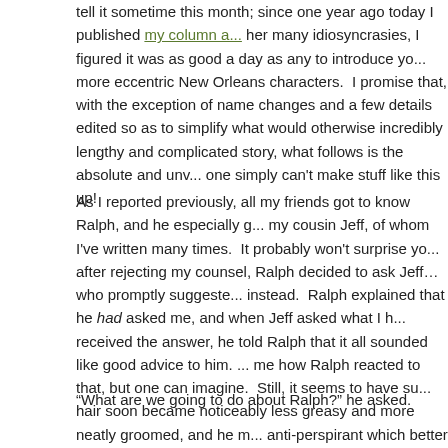tell it sometime this month; since one year ago today I published my column a... her many idiosyncrasies, I figured it was as good a day as any to introduce yo... more eccentric New Orleans characters.  I promise that, with the exception of name changes and a few details edited so as to simplify what would otherwise incredibly lengthy and complicated story, what follows is the absolute and unv... one simply can't make stuff like this up!
As I reported previously, all my friends got to know Ralph, and he especially g... my cousin Jeff, of whom I've written many times.  It probably won't surprise yo... after rejecting my counsel, Ralph decided to ask Jeff…who promptly suggeste... instead.  Ralph explained that he had asked me, and when Jeff asked what I h... received the answer, he told Ralph that it all sounded like good advice to him. ... me how Ralph reacted to that, but one can imagine.  Still, it seems to have su... hair soon became noticeably less greasy and more neatly groomed, and he m... anti-perspirant which better agreed with his body chemistry.  But other than th... the same nigh-hopeless case and his complaints about his virginity grew ever... everyone in our circle was sick of hearing it.  Then one day, Jeff and I had a c... which went something like this:
“What are we going to do about Ralph?” he asked.
“We?” I replied.  “Please don’t tell me you’re thinking what I think you’re thinki...
“Well, he wouldn’t be the first mercy fuck you’ve given.”
“Yes, but…you don’t understand.  It won’t stop with just sex; he’ll get attached...